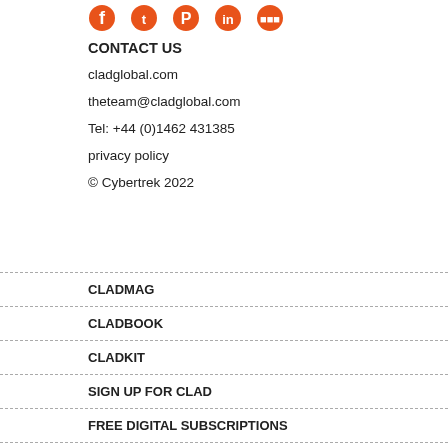[Figure (illustration): Row of social media icons in orange: Facebook, Twitter, Pinterest, LinkedIn, and another platform]
CONTACT US
cladglobal.com
theteam@cladglobal.com
Tel: +44 (0)1462 431385
privacy policy
© Cybertrek 2022
CLADMAG
CLADBOOK
CLADKIT
SIGN UP FOR CLAD
FREE DIGITAL SUBSCRIPTIONS
PRINT SUBSCRIPTIONS
ABOUT CLAD
ABOUT LEISURE MEDIA
VISIT LEISUREMEDIA.COM
LEISURE MEDIA MAGAZINES
LEISURE MEDIA HANDBOOKS